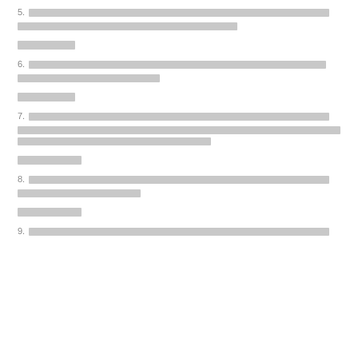5. [redacted text spanning two lines]
[redacted section header]
6. [redacted text spanning two lines]
[redacted section header]
7. [redacted text spanning three lines]
[redacted section header]
8. [redacted text spanning two lines]
[redacted section header]
9. [redacted text beginning]